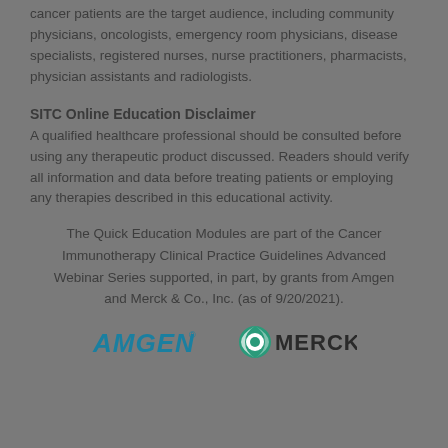cancer patients are the target audience, including community physicians, oncologists, emergency room physicians, disease specialists, registered nurses, nurse practitioners, pharmacists, physician assistants and radiologists.
SITC Online Education Disclaimer
A qualified healthcare professional should be consulted before using any therapeutic product discussed. Readers should verify all information and data before treating patients or employing any therapies described in this educational activity.
The Quick Education Modules are part of the Cancer Immunotherapy Clinical Practice Guidelines Advanced Webinar Series supported, in part, by grants from Amgen and Merck & Co., Inc. (as of 9/20/2021).
[Figure (logo): Amgen and Merck logos side by side]